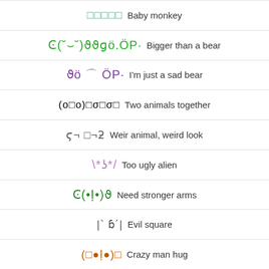□□□□□  Baby monkey
ϾC(˘⌣˘)ʒϑɡö.ÖP·  Bigger than a bear
ϑö ⌒ ÖP·  I'm just a sad bear
(o□o)□σ□σ□  Two animals together
ϛ¬ □¬ƻ  Weir animal, weird look
\*ʖ*/  Too ugly alien
Ͼ(•ḷ•)ϑ  Need stronger arms
|` ɓ´|  Evil square
(□●ḷ●)□  Crazy man hug